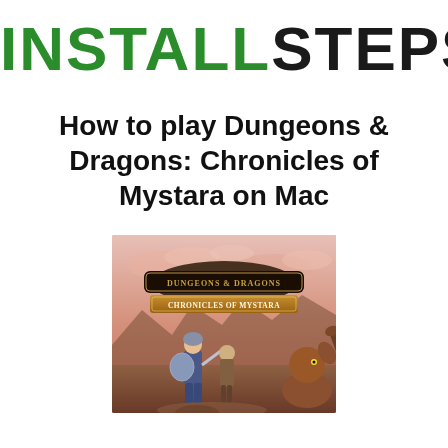INSTALLSTEPS
How to play Dungeons & Dragons: Chronicles of Mystara on Mac
[Figure (illustration): Game cover art for Dungeons & Dragons: Chronicles of Mystara showing fantasy characters including a warrior with sword and shield against a pink/red sky background, with the game's logo banner at the top of the image.]